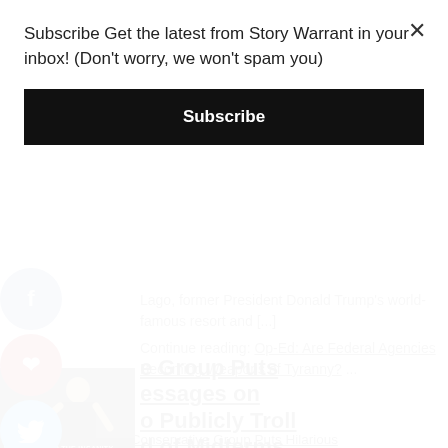Subscribe Get the latest from Story Warrant in your inbox! (Don't worry, we won't spam you)
Subscribe
Lago, former President Donald Trump's world-famous resort and [...] Continue reading: Op-Ed: Are Federal Agencies Becoming Weapons of Tyranny? ...
e Group Puts essages on o Publicly Troll d of Midterms
[Figure (photo): A man holding a trophy with text overlay reading 'VOTE TO STOP THE INSANITY' and 'PAID FOR BY CITIZENS FOR SANITY, INC.']
The following article, Conservative Group Puts Hilarious Messages on Billboards to Publicly Troll Ahead of Midterms